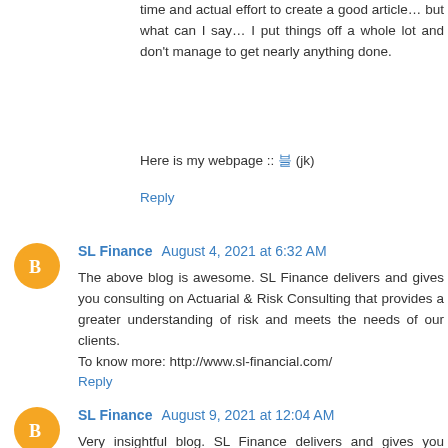time and actual effort to create a good article… but what can I say… I put things off a whole lot and don't manage to get nearly anything done.
Here is my webpage :: 블 (jk)
Reply
SL Finance  August 4, 2021 at 6:32 AM
The above blog is awesome. SL Finance delivers and gives you consulting on Actuarial & Risk Consulting that provides a greater understanding of risk and meets the needs of our clients.
To know more: http://www.sl-financial.com/
Reply
SL Finance  August 9, 2021 at 12:04 AM
Very insightful blog. SL Finance delivers and gives you consulting on Actuarial & Risk Consulting that provides a